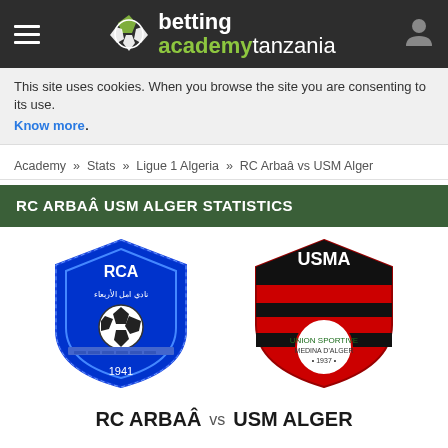betting academy tanzania — navigation header
This site uses cookies. When you browse the site you are consenting to its use. Know more.
Academy » Stats » Ligue 1 Algeria » RC Arbaâ vs USM Alger
RC ARBAÂ USM ALGER STATISTICS
[Figure (logo): RC Arbaâ (RCA) football club crest — blue shield with soccer ball and year 1941]
[Figure (logo): USM Alger (USMA) football club crest — red and black shield with initials USMA]
RC ARBAÂ  vs  USM ALGER